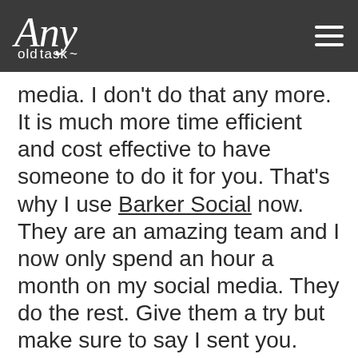Any old task [logo] [hamburger menu]
media. I don't do that any more. It is much more time efficient and cost effective to have someone to do it for you. That's why I use Barker Social now. They are an amazing team and I now only spend an hour a month on my social media. They do the rest. Give them a try but make sure to say I sent you.
TOOLS FOR ZERO INBOX
Boomerang for Gmail